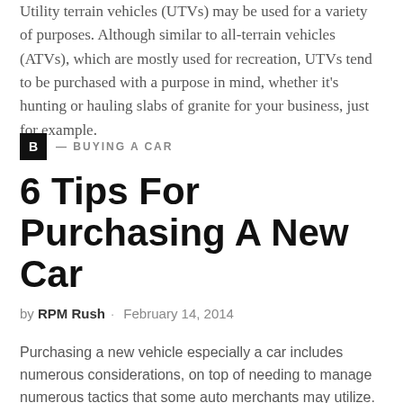Utility terrain vehicles (UTVs) may be used for a variety of purposes. Although similar to all-terrain vehicles (ATVs), which are mostly used for recreation, UTVs tend to be purchased with a purpose in mind, whether it's hunting or hauling slabs of granite for your business, just for example.
B — BUYING A CAR
6 Tips For Purchasing A New Car
by RPM Rush · February 14, 2014
Purchasing a new vehicle especially a car includes numerous considerations, on top of needing to manage numerous tactics that some auto merchants may utilize.